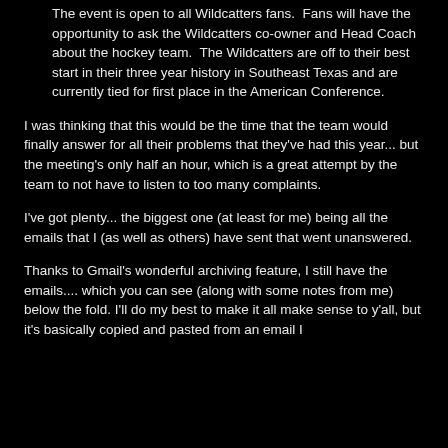The event is open to all Wildcatters fans.  Fans will have the opportunity to ask the Wildcatters co-owner and Head Coach about the hockey team.  The Wildcatters are off to their best start in their three year history in Southeast Texas and are currently tied for first place in the American Conference.
I was thinking that this would be the time that the team would finally answer for all their problems that they've had this year... but the meeting's only half an hour, which is a great attempt by the team to not have to listen to too many complaints.
I've got plenty... the biggest one (at least for me) being all the emails that I (as well as others) have sent that went unanswered.
Thanks to Gmail's wonderful archiving feature, I still have the emails.... which you can see (along with some notes from me) below the fold. I'll do my best to make it all make sense to y'all, but it's basically copied and pasted from an email I...